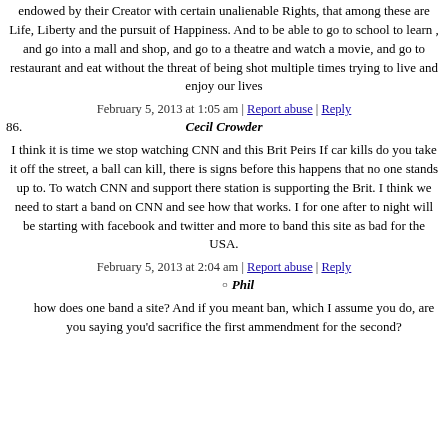endowed by their Creator with certain unalienable Rights, that among these are Life, Liberty and the pursuit of Happiness. And to be able to go to school to learn , and go into a mall and shop, and go to a theatre and watch a movie, and go to restaurant and eat without the threat of being shot multiple times trying to live and enjoy our lives
February 5, 2013 at 1:05 am | Report abuse | Reply
86. Cecil Crowder
I think it is time we stop watching CNN and this Brit Peirs If car kills do you take it off the street, a ball can kill, there is signs before this happens that no one stands up to. To watch CNN and support there station is supporting the Brit. I think we need to start a band on CNN and see how that works. I for one after to night will be starting with facebook and twitter and more to band this site as bad for the USA.
February 5, 2013 at 2:04 am | Report abuse | Reply
Phil
how does one band a site? And if you meant ban, which I assume you do, are you saying you'd sacrifice the first ammendment for the second?